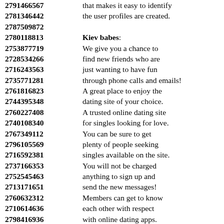2791466567 that makes it easy to identify
2781346442 the user profiles are created.
2787509872
2780118813 Kiev babes:
2753877719 We give you a chance to
2728534266 find new friends who are
2716243563 just wanting to have fun
2735771281 through phone calls and emails!
2761816823 A great place to enjoy the
2744395348 dating site of your choice.
2760227408 A trusted online dating site
2740108340 for singles looking for love.
2767349112 You can be sure to get
2796105569 plenty of people seeking
2716592381 singles available on the site.
2737166353 You will not be charged
2752545463 anything to sign up and
2713171651 send the new messages!
2760632312 Members can get to know
2710614636 each other with respect
2798416936 with online dating apps.
2737709475 You will make connections
2739540102 with the information provided
2712496625 without face to face contact
2779583811 comfortably from your home.
2784687845 ...